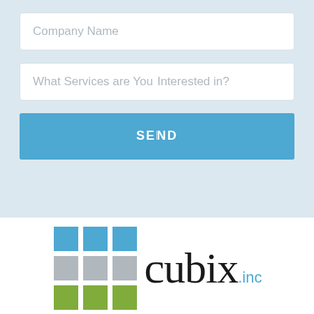[Figure (screenshot): Web form with two input fields labeled 'Company Name' and 'What Services are You Interested in?' and a blue SEND button, on a light blue-gray background]
[Figure (logo): Cubix Inc logo: a 3x3 grid of colored squares (blue top row, gray middle row, green bottom row) next to the word 'cubix' in serif black text and '.inc' in blue sans-serif text]